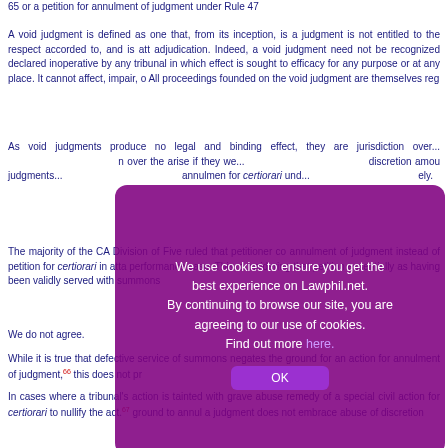65 or a petition for annulment of judgment under Rule 47
A void judgment is defined as one that, from its inception, is a judgment is not entitled to the respect accorded to, and is att adjudication. Indeed, a void judgment need not be recognized declared inoperative by any tribunal in which effect is sought to efficacy for any purpose or at any place. It cannot affect, impair, o All proceedings founded on the void judgment are themselves reg
As void judgments produce no legal and binding effect, they are jurisdiction over... arise if they we... discretion amou judgments... annulmen for certiorari und... ely.
The majority of the CA Division of Five ruled that petitioner co annulment of judgment instead of petition for certiorari in atta performance case. This, considering that petition essentially as having been validly served with summons
We do not agree.
While it is true that defective service of summons negates the ground for an action for annulment of judgment,66 this does not pr
In cases where a tribunal's action is tainted with grave abuse remedy of a special civil action for certiorari to nullify the act.67 ground to annul a judgment does not embrace abuse of discretion